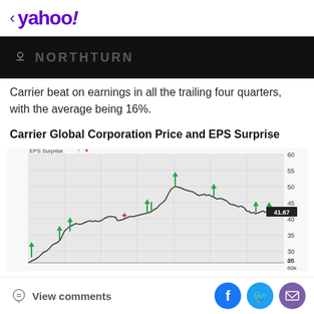< yahoo!
Carrier beat on earnings in all the trailing four quarters, with the average being 16%.
Carrier Global Corporation Price and EPS Surprise
[Figure (continuous-plot): Line chart showing Carrier Global Corporation stock price over time with EPS surprise markers (green up arrows for positive surprises, red markers for misses). Price ranges from about 15 to 60 dollars. Current price shown as 41.67. Y-axis shows price in dollars from 15 to 60. Green arrows mark quarterly EPS surprise beats, one red marker shows a miss. Legend shows Price ($) line.]
View comments